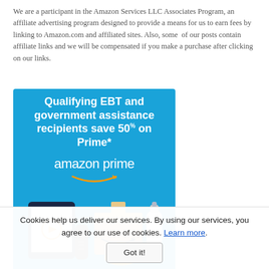We are a participant in the Amazon Services LLC Associates Program, an affiliate advertising program designed to provide a means for us to earn fees by linking to Amazon.com and affiliated sites. Also, some of our posts contain affiliate links and we will be compensated if you make a purchase after clicking on our links.
[Figure (infographic): Amazon Prime advertisement on blue background. Text reads: 'Qualifying EBT and government assistance recipients save 50% on Prime*' with amazon prime logo and illustration of tablet, remote, box, baby bottle, and rubber duck.]
Cookies help us deliver our services. By using our services, you agree to our use of cookies. Learn more. Got it!